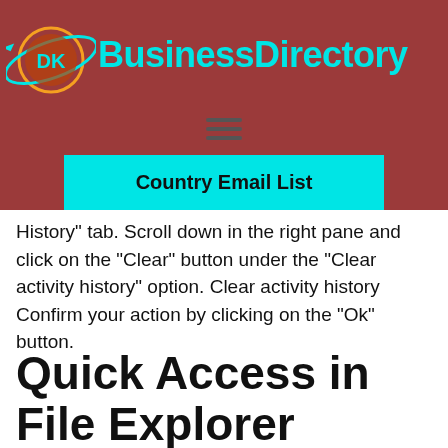[Figure (logo): DK Business Directory logo with cyan globe/orbit icon and cyan bold text 'BusinessDirectory' on a dark red banner background]
Country Email List
History” tab. Scroll down in the right pane and click on the “Clear” button under the “Clear activity history” option. Clear activity history Confirm your action by clicking on the “Ok” button.
Quick Access in File Explorer